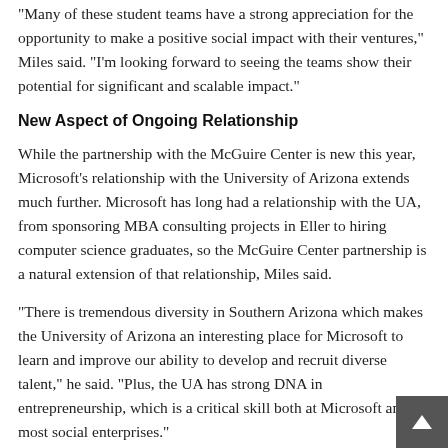“Many of these student teams have a strong appreciation for the opportunity to make a positive social impact with their ventures,” Miles said. “I’m looking forward to seeing the teams show their potential for significant and scalable impact.”
New Aspect of Ongoing Relationship
While the partnership with the McGuire Center is new this year, Microsoft’s relationship with the University of Arizona extends much further. Microsoft has long had a relationship with the UA, from sponsoring MBA consulting projects in Eller to hiring computer science graduates, so the McGuire Center partnership is a natural extension of that relationship, Miles said.
“There is tremendous diversity in Southern Arizona which makes the University of Arizona an interesting place for Microsoft to learn and improve our ability to develop and recruit diverse talent,” he said. “Plus, the UA has strong DNA in entrepreneurship, which is a critical skill both at Microsoft and in most social enterprises.”